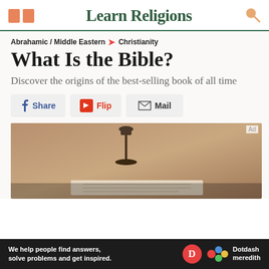Learn Religions
Abrahamic / Middle Eastern > Christianity
What Is the Bible?
Discover the origins of the best-selling book of all time
Share  Flip  Mail
[Figure (photo): A dimly lit photo showing an old oil lamp on a stand and what appears to be an open book or scroll below it, set against a rough tan/brown wall background]
We help people find answers, solve problems and get inspired. Dotdash meredith